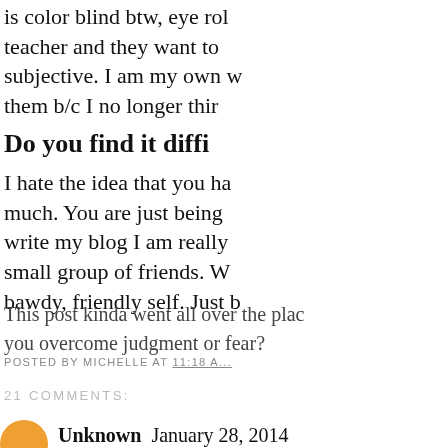is color blind btw, eye rol teacher and they want to subjective. I am my own w them b/c I no longer thir
Do you find it diffi
I hate the idea that you ha much. You are just being write my blog I am really small group of friends. W bawdy, friendly self. Just b
This post kinda went all over the plac you overcome judgment or fear?
POSTED BY MICHELLE AT 11:18 AM
21 COMMENTS:
Unknown  January 28, 2014